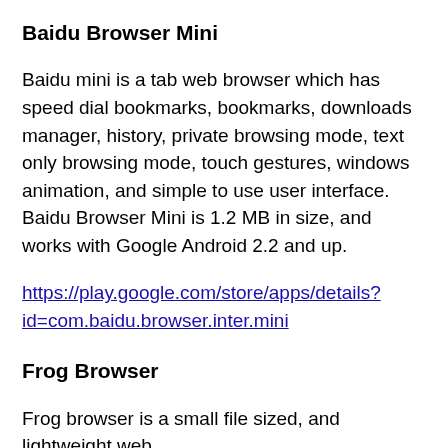Baidu Browser Mini
Baidu mini is a tab web browser which has speed dial bookmarks, bookmarks, downloads manager, history, private browsing mode, text only browsing mode, touch gestures, windows animation, and simple to use user interface. Baidu Browser Mini is 1.2 MB in size, and works with Google Android 2.2 and up.
https://play.google.com/store/apps/details?id=com.baidu.browser.inter.mini
Frog Browser
Frog browser is a small file sized, and lightweight web